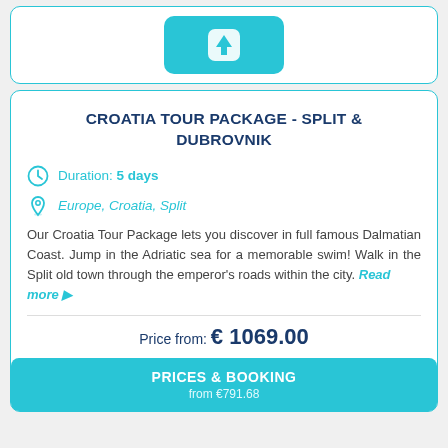[Figure (other): Teal upload/share button with upward arrow icon inside a white card with teal border]
CROATIA TOUR PACKAGE - SPLIT & DUBROVNIK
Duration: 5 days
Europe, Croatia, Split
Our Croatia Tour Package lets you discover in full famous Dalmatian Coast. Jump in the Adriatic sea for a memorable swim! Walk in the Split old town through the emperor's roads within the city. Read more ▶
Price from: € 1069.00
PRICES & BOOKING from €791.68